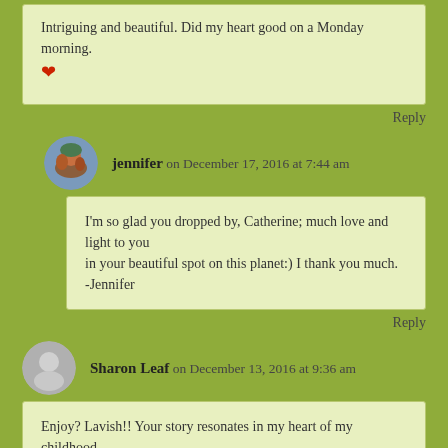Intriguing and beautiful. Did my heart good on a Monday morning. ❤
Reply
jennifer on December 17, 2016 at 7:44 am
I'm so glad you dropped by, Catherine; much love and light to you
in your beautiful spot on this planet:) I thank you much.
-Jennifer
Reply
Sharon Leaf on December 13, 2016 at 9:36 am
Enjoy? Lavish!! Your story resonates in my heart of my childhood memories. Poor, but happy. Simple joy filled our home. And oh how I